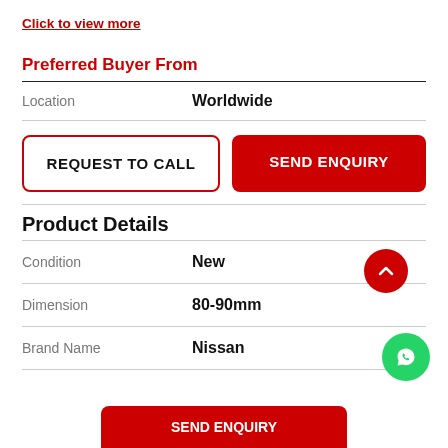Click to view more
Preferred Buyer From
|  |  |
| --- | --- |
| Location | Worldwide |
REQUEST TO CALL
SEND ENQUIRY
Product Details
|  |  |
| --- | --- |
| Condition | New |
| Dimension | 80-90mm |
| Brand Name | Nissan |